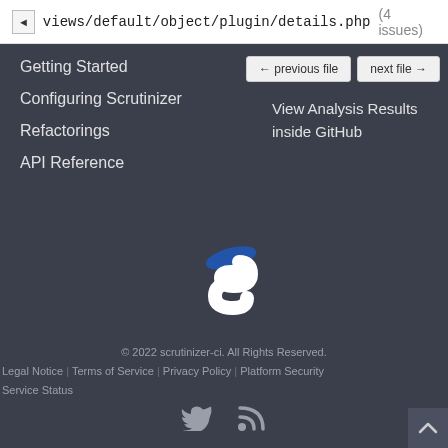views/default/object/plugin/details.php (4 issues)
Getting Started
Configuring Scrutinizer
Refactorings
API Reference
View Analysis Results inside GitHub
[Figure (logo): Scrutinizer-CI logo: stylized white letter S with blue accent]
© 2022 scrutinizer-ci. All Rights Reserved. Legal Notice | Terms of Service | Privacy Policy | Platform Security Service Status